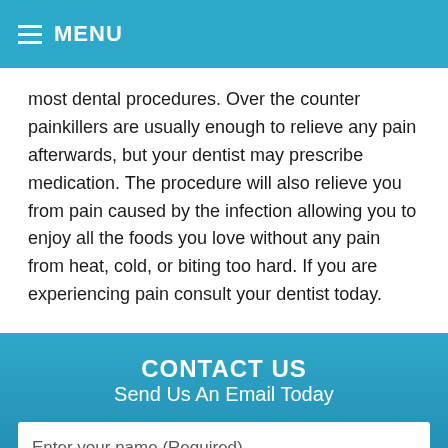MENU
most dental procedures. Over the counter painkillers are usually enough to relieve any pain afterwards, but your dentist may prescribe medication. The procedure will also relieve you from pain caused by the infection allowing you to enjoy all the foods you love without any pain from heat, cold, or biting too hard. If you are experiencing pain consult your dentist today.
CONTACT US
Send Us An Email Today
Enter your name (Required)
Enter email (Required)